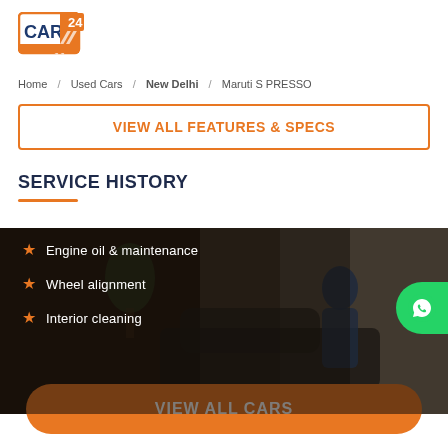[Figure (logo): CARS24 logo — orange square border with 'CARS' text and '24' badge]
Home / Used Cars / New Delhi / Maruti S PRESSO
VIEW ALL FEATURES & SPECS
SERVICE HISTORY
[Figure (photo): Service history image showing a mechanic working on a car in a workshop, with a list of service items: Engine oil & maintenance, Wheel alignment, Interior cleaning]
VIEW ALL CARS